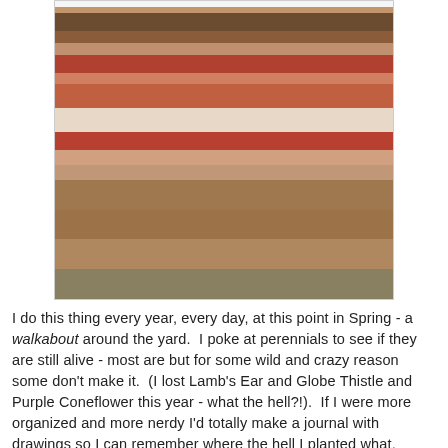[Figure (photo): A layered dessert in a mason jar with whipped cream on top, sitting on a burlap cloth with spoons on a weathered wood surface.]
I do this thing every year, every day, at this point in Spring - a walkabout around the yard.  I poke at perennials to see if they are still alive - most are but for some wild and crazy reason some don't make it.  (I lost Lamb's Ear and Globe Thistle and Purple Coneflower this year - what the hell?!).  If I were more organized and more nerdy I'd totally make a journal with drawings so I can remember where the hell I planted what, because I'm getting old and the short term